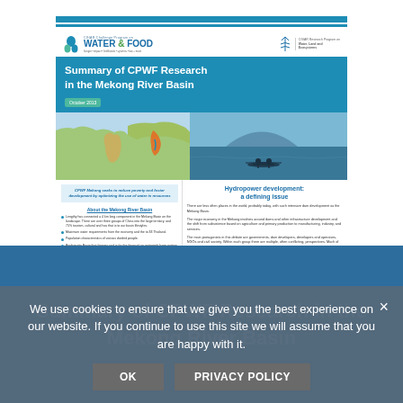[Figure (screenshot): Cover page of CGIAR Challenge Program on Water & Food document: 'Summary of CPWF Research in the Mekong River Basin', October 2013, with world map highlighting Mekong region and a photo of kayakers on a river.]
We use cookies to ensure that we give you the best experience on our website. If you continue to use this site we will assume that you are happy with it.
OK   PRIVACY POLICY
Summary of CPWF Research in the Mekong River Basin